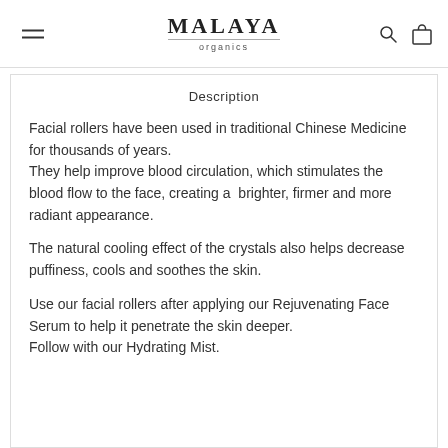MALAYA organics
Description
Facial rollers have been used in traditional Chinese Medicine for thousands of years.
They help improve blood circulation, which stimulates the blood flow to the face, creating a  brighter, firmer and more radiant appearance.
The natural cooling effect of the crystals also helps decrease puffiness, cools and soothes the skin.
Use our facial rollers after applying our Rejuvenating Face Serum to help it penetrate the skin deeper. Follow with our Hydrating Mist.